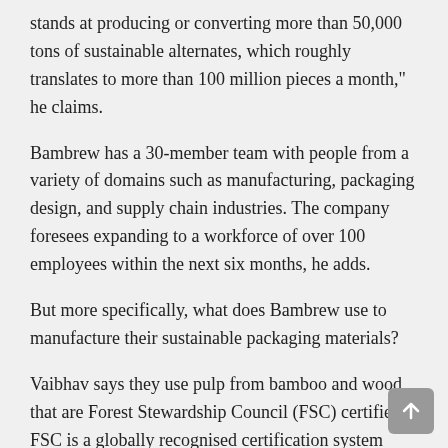stands at producing or converting more than 50,000 tons of sustainable alternates, which roughly translates to more than 100 million pieces a month," he claims.
Bambrew has a 30-member team with people from a variety of domains such as manufacturing, packaging design, and supply chain industries. The company foresees expanding to a workforce of over 100 employees within the next six months, he adds.
But more specifically, what does Bambrew use to manufacture their sustainable packaging materials?
Vaibhav says they use pulp from bamboo and wood that are Forest Stewardship Council (FSC) certified. FSC is a globally recognised certification system which recognises materials sourced from forests that are “responsibly managed, socially beneficial, environmentally conscious, and economically viable”. It’s like a fair trade certification for materials sourced from forests.
“We are now thinking of using hemp as a raw material as well,